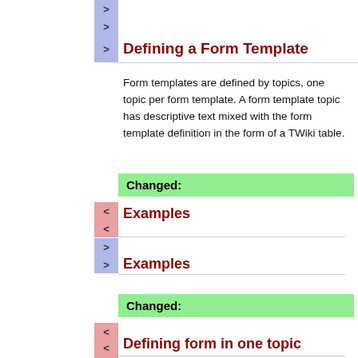Defining a Form Template
Form templates are defined by topics, one topic per form template. A form template topic has descriptive text mixed with the form template definition in the form of a TWiki table.
Changed:
Examples
Examples
Changed:
Defining form in one topic
Defining a Form in One Topic